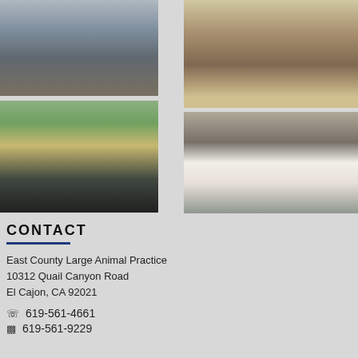[Figure (photo): Outdoor scene with vehicles and people in a parking/driveway area]
[Figure (photo): Veterinarian treating a black Labrador dog on a table in a clinic with green walls and medical equipment]
[Figure (photo): A thin brown baby goat or young animal standing next to a metal trash can outdoors]
[Figure (photo): Woman in blue jacket treating or examining a white dog/puppy lying on a mat outdoors on gravel]
CONTACT
East County Large Animal Practice
10312 Quail Canyon Road
El Cajon, CA 92021
619-561-4661
619-561-9229